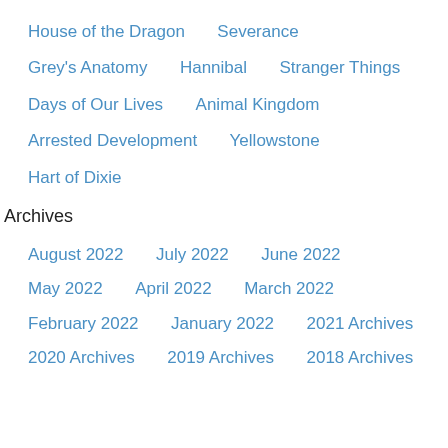House of the Dragon    Severance
Grey's Anatomy    Hannibal    Stranger Things
Days of Our Lives    Animal Kingdom
Arrested Development    Yellowstone
Hart of Dixie
Archives
August 2022    July 2022    June 2022
May 2022    April 2022    March 2022
February 2022    January 2022    2021 Archives
2020 Archives    2019 Archives    2018 Archives